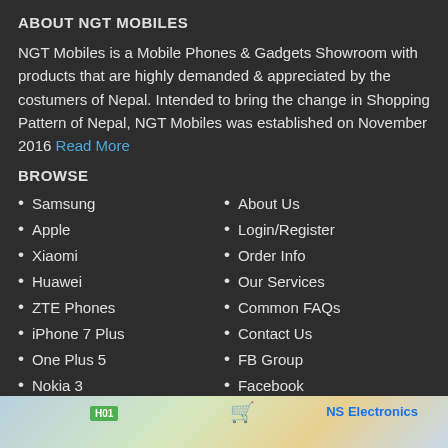ABOUT NGT MOBILES
NGT Mobiles is a Mobile Phones & Gadgets Showroom with products that are highly demanded & appreciated by the costumers of Nepal. Intended to bring the change in Shopping Pattern of Nepal, NGT Mobiles was established on November 2016 Read More
BROWSE
Samsung
Apple
Xiaomi
Huawei
ZTE Phones
iPhone 7 Plus
One Plus 5
Nokia 3
About Us
Login/Register
Order Info
Our Services
Common FAQs
Contact Us
FB Group
Facebook
LOCATION MAP
[Figure (map): Map strip showing location with HD01 label, NS Electronics marker, and map icon]